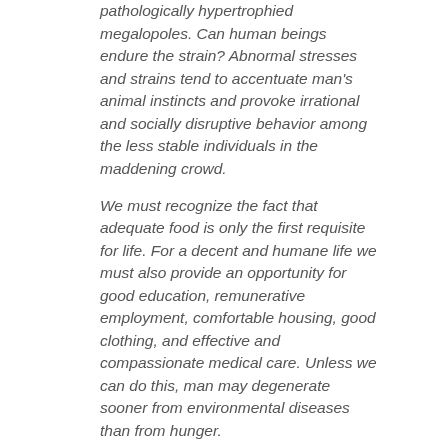poisoned and clamorous environment of pathologically hypertrophied megalopoles. Can human beings endure the strain? Abnormal stresses and strains tend to accentuate man's animal instincts and provoke irrational and socially disruptive behavior among the less stable individuals in the maddening crowd.
We must recognize the fact that adequate food is only the first requisite for life. For a decent and humane life we must also provide an opportunity for good education, remunerative employment, comfortable housing, good clothing, and effective and compassionate medical care. Unless we can do this, man may degenerate sooner from environmental diseases than from hunger.